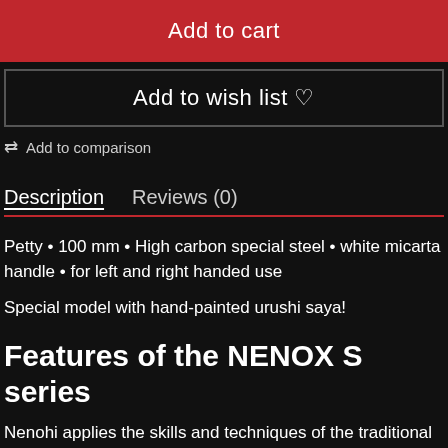Add to cart
Add to wish list ♡
⇆ Add to comparison
Description   Reviews (0)
Petty • 100 mm • High carbon special steel • white micarta handle • for left and right handed use
Special model with hand-painted urushi saya!
Features of the NENOX S series
Nenohi applies the skills and techniques of the traditional Japanese knives to the Western knives. Great attention to detail in every step of the production process. Much of the process is done by hand. All knives are also thoroughly